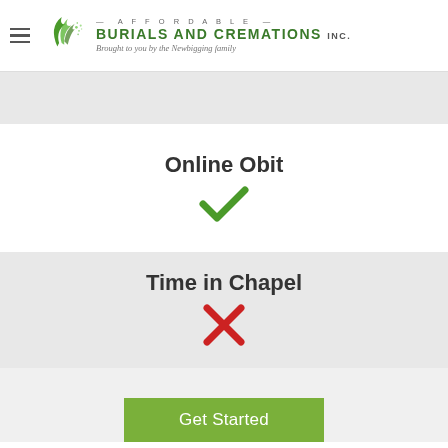Affordable Burials and Cremations Inc. — Brought to you by the Newbigging family
Online Obit
[Figure (other): Green checkmark icon indicating Online Obit is included]
Time in Chapel
[Figure (other): Red X icon indicating Time in Chapel is not included]
Get Started